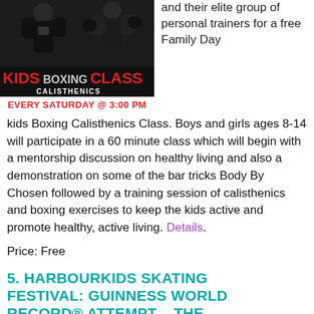[Figure (photo): Kids Boxing Calisthenics Class promotional image with two people in boxing poses, banner text 'KIDS BOXING CALISTHENICS CLASS' and 'EVERY SATURDAY @ 3:00 PM']
and their elite group of personal trainers for a free Family Day kids Boxing Calisthenics Class. Boys and girls ages 8-14 will participate in a 60 minute class which will begin with a mentorship discussion on healthy living and also a demonstration on some of the bar tricks Body By Chosen followed by a training session of calisthenics and boxing exercises to keep the kids active and promote healthy, active living. Details.
Price: Free
5. HARBOURKIDS SKATING FESTIVAL: GUINNESS WORLD RECORD® ATTEMPT – THE